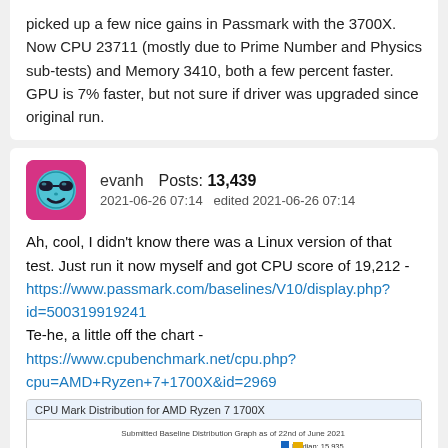picked up a few nice gains in Passmark with the 3700X. Now CPU 23711 (mostly due to Prime Number and Physics sub-tests) and Memory 3410, both a few percent faster. GPU is 7% faster, but not sure if driver was upgraded since original run.
evanh  Posts: 13,439
2021-06-26 07:14   edited 2021-06-26 07:14
Ah, cool, I didn't know there was a Linux version of that test. Just run it now myself and got CPU score of 19,212 - https://www.passmark.com/baselines/V10/display.php?id=500319919241
Te-he, a little off the chart - https://www.cpubenchmark.net/cpu.php?cpu=AMD+Ryzen+7+1700X&id=2969
[Figure (screenshot): CPU Mark Distribution for AMD Ryzen 7 1700X - Submitted Baseline Distribution Graph as of 22nd of June 2021, showing median 15,935, with y-axis values 25, 30, 35 visible and a tall bar near the top of the chart.]